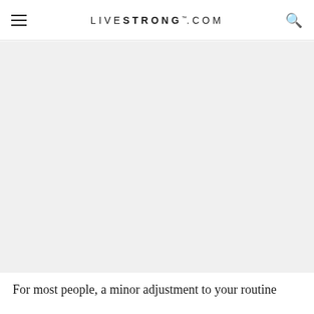LIVESTRONG.COM
[Figure (photo): Large image area placeholder with light gray background, occupying most of the page below the navigation bar]
For most people, a minor adjustment to your routine